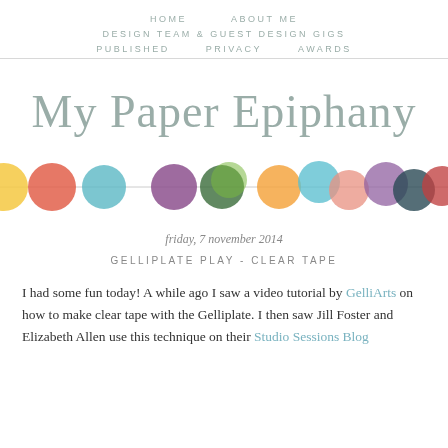HOME   ABOUT ME   DESIGN TEAM & GUEST DESIGN GIGS   PUBLISHED   PRIVACY   AWARDS
My Paper Epiphany
[Figure (illustration): A decorative horizontal row of colorful overlapping watercolor painted circles/dots in various colors including yellow, red-orange, teal, purple, dark green, orange, teal, salmon/pink, purple, dark teal, red, orange, and yellow, connected by a thin horizontal line.]
friday, 7 november 2014
GELLIPLATE PLAY - CLEAR TAPE
I had some fun today! A while ago I saw a video tutorial by GelliArts on how to make clear tape with the Gelliplate. I then saw Jill Foster and Elizabeth Allen use this technique on their Studio Sessions Blog